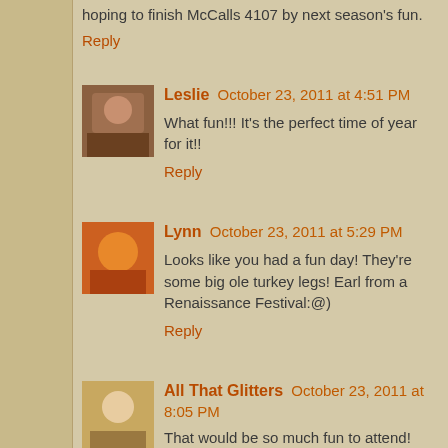hoping to finish McCalls 4107 by next season's fun.
Reply
Leslie  October 23, 2011 at 4:51 PM
What fun!!! It's the perfect time of year for it!!
Reply
Lynn  October 23, 2011 at 5:29 PM
Looks like you had a fun day! They're some big ole turkey legs! Earl from a Renaissance Festival:@)
Reply
All That Glitters  October 23, 2011 at 8:05 PM
That would be so much fun to attend! Your boy looks handsome
Reply
Debbiedoos  October 23, 2011 at 8:52 PM